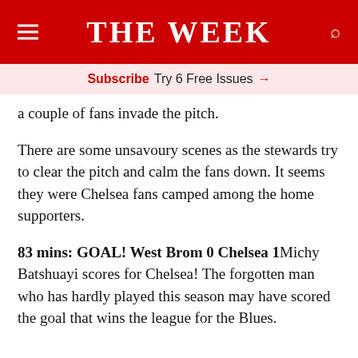THE WEEK
Subscribe Try 6 Free Issues →
a couple of fans invade the pitch.
There are some unsavoury scenes as the stewards try to clear the pitch and calm the fans down. It seems they were Chelsea fans camped among the home supporters.
83 mins: GOAL! West Brom 0 Chelsea 1Michy Batshuayi scores for Chelsea! The forgotten man who has hardly played this season may have scored the goal that wins the league for the Blues.